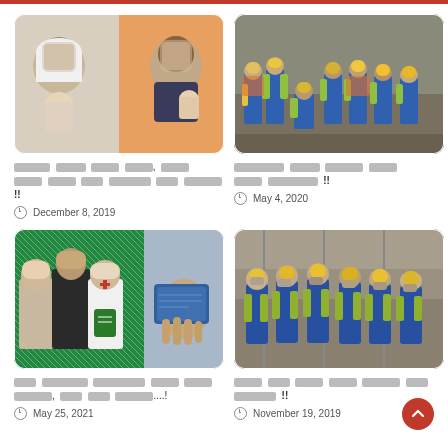[Figure (photo): Two photos side by side: woman in hijab holding infant, and young man holding infant, faces blurred]
██████ █████ ████ ████, ████ ████ ████ ███ ████████ ███ ██████ !!
December 8, 2019
[Figure (photo): Construction workers in blue uniforms and yellow/green vests at a construction site]
█████████ ████ ██████ ████ ████ █████████ !!
May 4, 2020
[Figure (photo): Group photo with officials, woman in nurse uniform, and composite with hand holding currency/passport]
███ ████████ █████████ ████ ████ ██████, ███ ███ ██████....!
May 25, 2021
[Figure (photo): Construction workers in blue coveralls and yellow helmets walking at a construction site, faces blurred]
████ ███ ████ ████ ██████ ██ ███████ !!
November 19, 2019